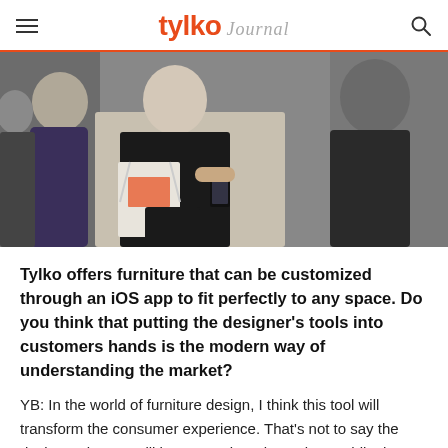tylko journal
[Figure (photo): Group of people standing at what appears to be a design fair or trade show. A woman in black carrying a tote bag and looking at her phone is prominent in the center.]
Tylko offers furniture that can be customized through an iOS app to fit perfectly to any space. Do you think that putting the designer's tools into customers hands is the modern way of understanding the market?
YB: In the world of furniture design, I think this tool will transform the consumer experience. That's not to say the designer doesn't still have a major role to play – while the consumer still is able to personalize their furniture, the